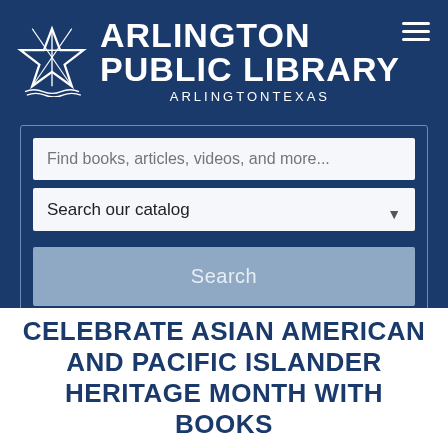[Figure (logo): Arlington Public Library logo with star emblem on dark navy background, hamburger menu icon top right]
Find books, articles, videos, and more...
Search our catalog
Search
CELEBRATE ASIAN AMERICAN AND PACIFIC ISLANDER HERITAGE MONTH WITH BOOKS